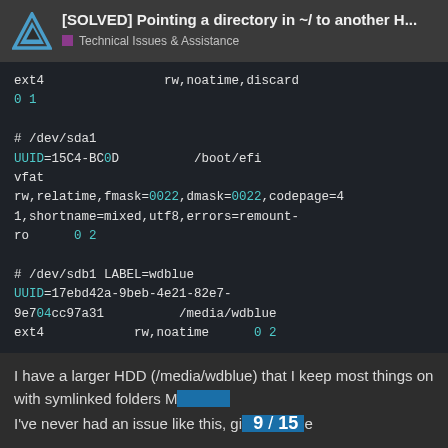[SOLVED] Pointing a directory in ~/ to another H... | Technical Issues & Assistance
ext4                rw,noatime,discard
0 1

# /dev/sda1
UUID=15C4-BC0D          /boot/efi
vfat
rw,relatime,fmask=0022,dmask=0022,codepage=4
1,shortname=mixed,utf8,errors=remount-
ro      0 2

# /dev/sdb1 LABEL=wdblue
UUID=17ebd42a-9beb-4e21-82e7-
9e704cc97a31          /media/wdblue
ext4            rw,noatime      0 2
I have a larger HDD (/media/wdblue) that I keep most things on with symlinked folders M... I've never had an issue like this, gi... e